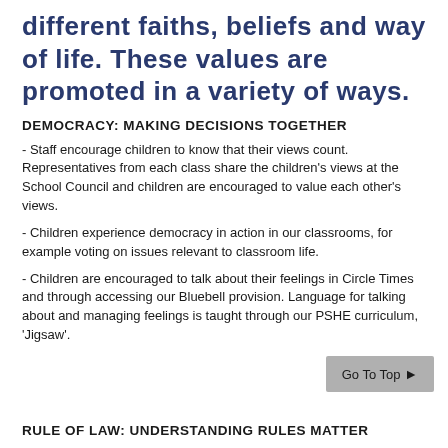different faiths, beliefs and way of life. These values are promoted in a variety of ways.
DEMOCRACY: MAKING DECISIONS TOGETHER
- Staff encourage children to know that their views count. Representatives from each class share the children's views at the School Council and children are encouraged to value each other's views.
- Children experience democracy in action in our classrooms, for example voting on issues relevant to classroom life.
- Children are encouraged to talk about their feelings in Circle Times and through accessing our Bluebell provision. Language for talking about and managing feelings is taught through our PSHE curriculum, 'Jigsaw'.
RULE OF LAW: UNDERSTANDING RULES MATTER